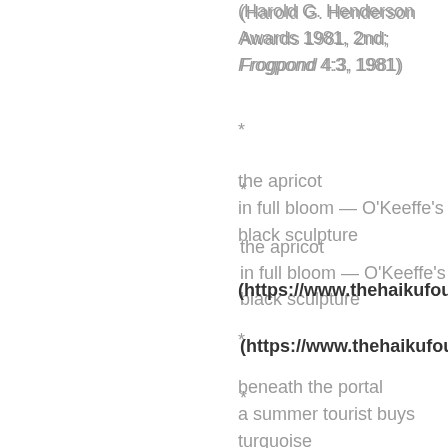(Harold G. Henderson Awards 1981, 2nd; Frogpond 4:3, 1981)
*
the apricot
in full bloom — O'Keeffe's
black sculpture
(https://www.thehaikufoundat
*
beneath the portal
a summer tourist buys
turquoise
to match the sky